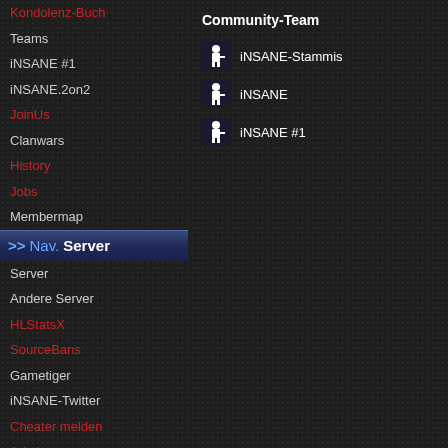Kondolenz-Buch
Teams
iNSANE #1
iNSANE.2on2
JoinUs
Clanwars
History
Jobs
Membermap
>> Nav. Server
Server
Andere Server
HLStatsX
SourceBans
Gametiger
iNSANE-Twitter
Cheater melden
Admins
Web-Chat
>> Nav. Misc
Galerie
Kontakt
Stammi werden!
Netiquette
FightUs
LinkUs
Statistiken
Impressum
Community-Team
iNSANE-Stammis
iNSANE
iNSANE #1